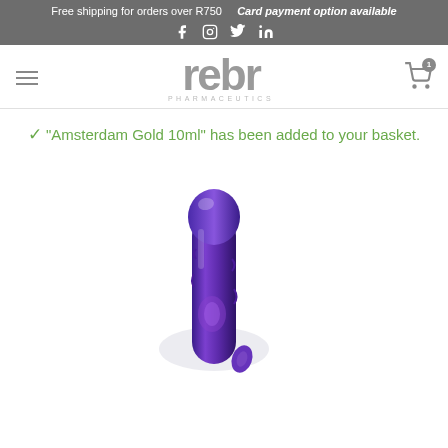Free shipping for orders over R750   Card payment option available
[Figure (logo): Rebr Pharmaceutics logo with hamburger menu and cart icon showing badge count 1]
"Amsterdam Gold 10ml" has been added to your basket.
[Figure (photo): Purple vibrator product photo on white background]